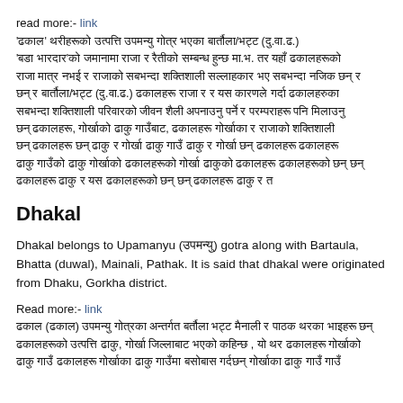read more:- link
'ढकाल' थरीहरूको उत्पत्ति उपमन्यु गोत्र भएका बार्तौला/भट्ट (दु.वा.ढ.) 'बडा भारदार'को जमानामा राजा र रैतीको सम्बन्ध हुन्छ मा.भ. तर यहाँ ढकालहरूको राजा मात्र नभई र राजाको सबभन्दा शक्तिशाली सल्लाहकार भए सबभन्दा नजिक छन् र बार्तौला/भट्ट (दु.वा.ढ.) ढकालहरू राजा र र यस कारणले गर्दा ढकालहरुका रीतिरिवाज, परम्पराहरू, जीवनशैलीमा पनि मिलाउनु अर्थात् राज्यको जीवन शैली अपनाउनु र एउटा राज्यको सफलता सबभन्दा शक्तिशाली परिवारको सफलतामा नै निर्भर हुन्छ र ढकालहरू त्यही परिवार हुन् त त
Dhakal
Dhakal belongs to Upamanyu (उपमन्यु) gotra along with Bartaula, Bhatta (duwal), Mainali, Pathak. It is said that dhakal were originated from Dhaku, Gorkha district.
Read more:- link
ढकाल (ढकाल) उपमन्यु गोत्रका अन्तर्गत बर्तौला भट्ट मैनाली र पाठक थरका भाइहरू ढकालहरूको उत्पत्ति ढाकु, गोर्खा जिल्लाबाट भएको कहिन्छ , यो थर ढकालहरू गोर्खाको ढाकु गाउँ ढकालहरू गोर्खाका ढाकु गाउँमा बसोबास गर्दछन् गोर्खाका ढाकु गाउँ गाउँ ढाकुमा बसोबास